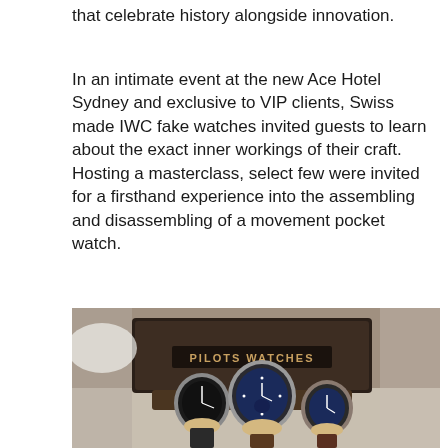that celebrate history alongside innovation.
In an intimate event at the new Ace Hotel Sydney and exclusive to VIP clients, Swiss made IWC fake watches invited guests to learn about the exact inner workings of their craft. Hosting a masterclass, select few were invited for a firsthand experience into the assembling and disassembling of a movement pocket watch.
[Figure (photo): Three IWC Pilot's Watches displayed on a watch stand/holder in front of a dark brown leather-textured box labeled 'PILOTS WATCHES'. The watches have blue dials and silver/steel cases. The background is softly blurred.]